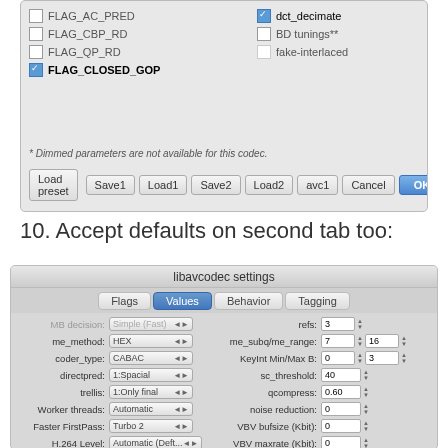[Figure (screenshot): Top portion of libavcodec settings dialog showing Flags tab with checkboxes including FLAG_AC_PRED (unchecked), FLAG_CBP_RD (unchecked), FLAG_QP_RD (unchecked), FLAG_CLOSED_GOP (checked), and on the right: dct_decimate (checked), BD tunings** (unchecked), fake-interlaced (unchecked). Footer note: * Dimmed parameters are not available for this codec. Button bar: Load preset, Save1, Load1, Save2, Load2, avc1, Cancel, OK]
10. Accept defaults on second tab too:
[Figure (screenshot): libavcodec settings dialog, Values tab selected. Left column: MB decision: Simple (Fast), me_method: HEX, coder_type: CABAC, directpred: 1:Spacial, trellis: 1:Only final, Worker threads: Automatic, Faster FirstPass: Turbo 2, H.264 Level: Automatic (Deft..., AQ mode: Variance. Right column: refs: 3, me_subq/me_range: 7 / 16, KeyInt Min/Max B: 0 / 3, sc_threshold: 40, qcompress: 0.60, noise reduction: 0, VBV bufsize (Kbit): 0, VBV maxrate (Kbit): 0, deblock alpha/beta: 0 / 0]